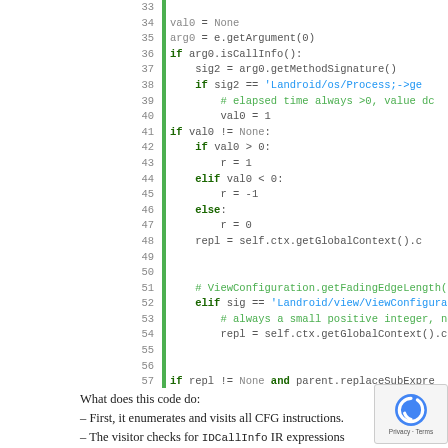[Figure (screenshot): Python source code snippet showing lines 33-57 with syntax highlighting. Line numbers in gray on left, green vertical bar separator, code with keywords in dark green bold, comments in light green, strings in blue, None in gray.]
What does this code do:
– First, it enumerates and visits all CFG instructions.
– The visitor checks for IDCallInfo IR expressions matching the kinds of Android framework API calls described above:
getOffsetBefore(), compareGetElapsedCpuTime(), 0).